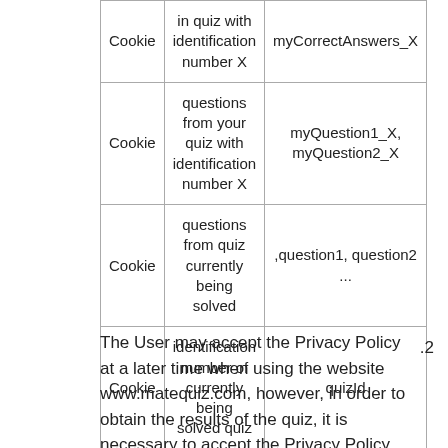| Type | Description | Name |
| --- | --- | --- |
| Cookie | in quiz with identification number X | myCorrectAnswers_X |
| Cookie | questions from your quiz with identification number X | myQuestion1_X, myQuestion2_X |
| Cookie | questions from quiz currently being solved | ,question1, question2 ... |
| Cookie | identification number of currently being solved quiz | quizId |
The User may accept the Privacy Policy at a later time when using the website www.matequiz.com, however, in order to obtain the results of the quiz, it is necessary to accept the Privacy Policy...